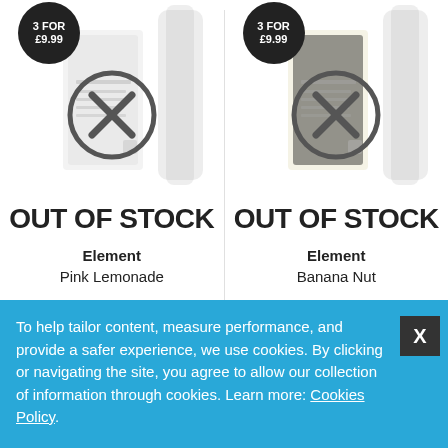[Figure (screenshot): Product card for Element Pink Lemonade showing out of stock overlay with circle-X icon, '3 FOR £9.99' badge, product images in background]
OUT OF STOCK
Element
Pink Lemonade
£3.99
VIEW PRODUCT
[Figure (screenshot): Product card for Element Banana Nut showing out of stock overlay with circle-X icon, '3 FOR £9.99' badge, product images in background]
OUT OF STOCK
Element
Banana Nut
£3.99
VIEW PRODUCT
Items 1 to 20 of 25 total
To help tailor content, measure performance, and provide a safer experience, we use cookies. By clicking or navigating the site, you agree to allow our collection of information through cookies. Learn more: Cookies Policy.